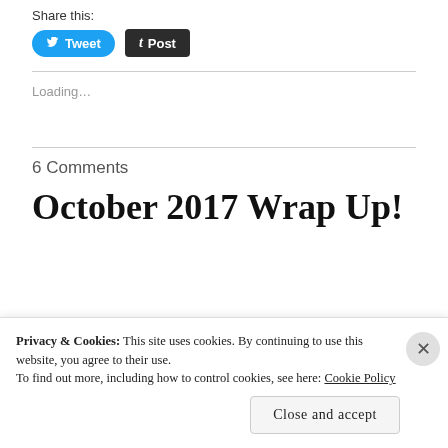Share this:
[Figure (screenshot): Tweet button (blue rounded) and Post button (dark rounded), social sharing buttons]
Loading…
6 Comments
October 2017 Wrap Up!
Privacy & Cookies: This site uses cookies. By continuing to use this website, you agree to their use. To find out more, including how to control cookies, see here: Cookie Policy
Close and accept